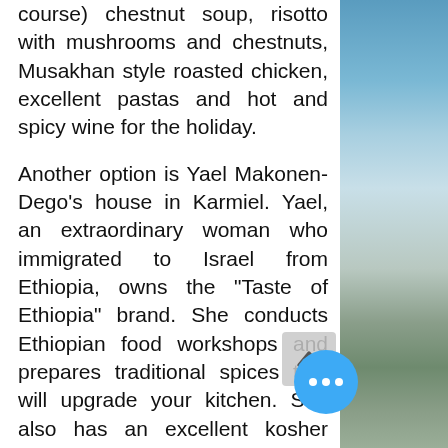course) chestnut soup, risotto with mushrooms and chestnuts, Musakhan style roasted chicken, excellent pastas and hot and spicy wine for the holiday.
Another option is Yael Makonen-Dego's house in Karmiel. Yael, an extraordinary woman who immigrated to Israel from Ethiopia, owns the "Taste of Ethiopia" brand. She conducts Ethiopian food workshops and prepares traditional spices that will upgrade your kitchen. She also has an excellent kosher restaurant in her home. If you're interested in shopping, the "Big" Complex in Karmiel and the new "Dabah" shopping complex at the al-Assad junction (adjacent to the road), are central complexes with a
[Figure (photo): Right-side photo showing a sky and landscape/city view, possibly a coastal or hillside scene.]